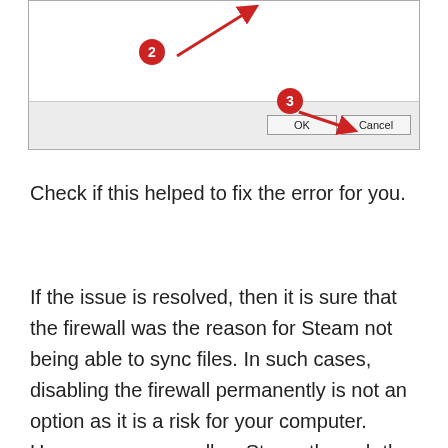[Figure (screenshot): A dialog box with a white content area and a gray bottom bar containing OK and Cancel buttons. Red numbered badges (2 and 3) with arrows point to elements in the dialog. Badge 2 points upward to the content area; badge 3 points to the OK button area.]
Check if this helped to fix the error for you.
If the issue is resolved, then it is sure that the firewall was the reason for Steam not being able to sync files. In such cases, disabling the firewall permanently is not an option as it is a risk for your computer. However, you can allow Steam through the